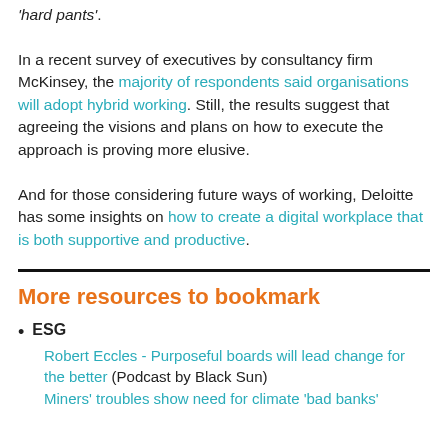'hard pants'. In a recent survey of executives by consultancy firm McKinsey, the majority of respondents said organisations will adopt hybrid working. Still, the results suggest that agreeing the visions and plans on how to execute the approach is proving more elusive.

And for those considering future ways of working, Deloitte has some insights on how to create a digital workplace that is both supportive and productive.
More resources to bookmark
ESG
Robert Eccles - Purposeful boards will lead change for the better (Podcast by Black Sun)
Miners' troubles show need for climate 'bad banks'